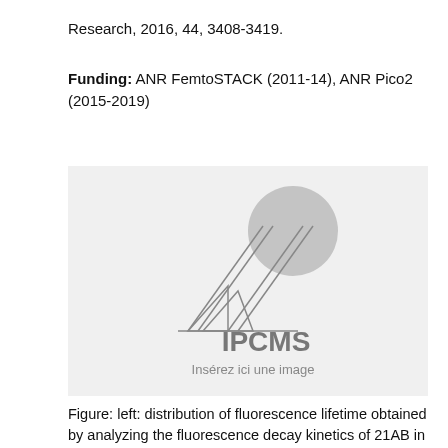Research, 2016, 44, 3408-3419.
Funding: ANR FemtoSTACK (2011-14), ANR Pico2 (2015-2019)
[Figure (logo): IPCMS institutional logo with a stylized microscope/antenna graphic consisting of triangular lines pointing to a gray circle, with text 'IPCMS' and subtitle 'Insérez ici une image' on a light gray background.]
Figure: left: distribution of fluorescence lifetime obtained by analyzing the fluorescence decay kinetics of 21AB in 3 distinct DNA hairpins. Right The